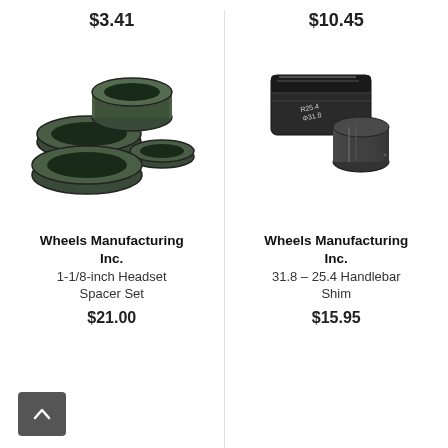$3.41
$10.45
[Figure (photo): Four dark green/black bicycle headset spacer rings arranged in a cluster]
[Figure (photo): Two black metal handlebar shim pieces with size markings]
Wheels Manufacturing Inc.
1-1/8-inch Headset Spacer Set
$21.00
Wheels Manufacturing Inc.
31.8 – 25.4 Handlebar Shim
$15.95